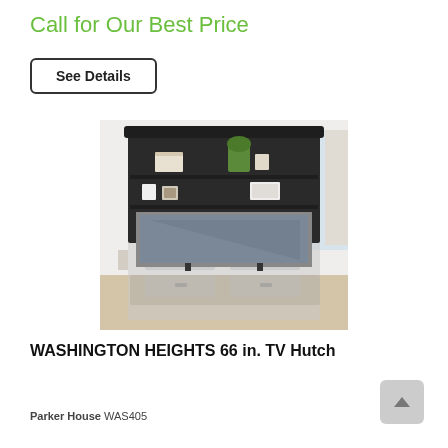Call for Our Best Price
See Details
[Figure (photo): Product photo of the WASHINGTON HEIGHTS 66 in. TV Hutch — a dark charcoal/black hutch with open shelves on top holding decorative items and plants, a large TV opening in the middle, and a faded/ghosted lower credenza beneath.]
WASHINGTON HEIGHTS 66 in. TV Hutch
Parker House WAS405